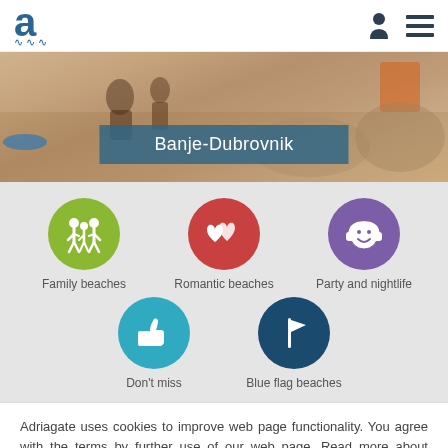Adriagate logo and navigation
[Figure (photo): Beach scene photo showing people on a sandy beach with rocky background, with a teal title bar overlay showing 'Banje-Dubrovnik']
Banje-Dubrovnik
[Figure (infographic): Category icons grid: Family beaches (green circle with family icon), Romantic beaches (red circle with hearts icon), Party and nightlife (purple circle with headphones smiley icon), Don't miss (teal circle with thumbs up icon), Blue flag beaches (navy circle with flag icon)]
Adriagate uses cookies to improve web page functionality. You agree with the terms by further use of our web page. Read more about cookies on:
Privacy Policy
Close